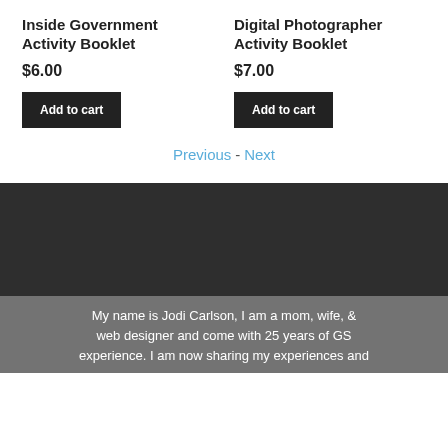Inside Government Activity Booklet
$6.00
Add to cart
Digital Photographer Activity Booklet
$7.00
Add to cart
Previous - Next
My name is Jodi Carlson, I am a mom, wife, & web designer and come with 25 years of GS experience. I am now sharing my experiences and